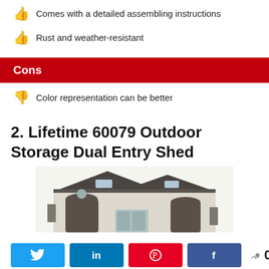Comes with a detailed assembling instructions
Rust and weather-resistant
Cons
Color representation can be better
2. Lifetime 60079 Outdoor Storage Dual Entry Shed
[Figure (photo): Photo of a large beige outdoor storage shed with dual entry doors, dark roof with skylights, and shuttered windows.]
[Figure (infographic): Social share bar with Twitter, LinkedIn, Pinterest, Facebook buttons and a share count of 0 SHARES.]